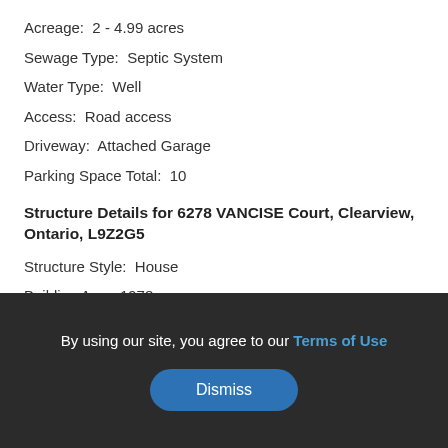Acreage:  2 - 4.99 acres
Sewage Type:  Septic System
Water Type:  Well
Access:  Road access
Driveway:  Attached Garage
Parking Space Total:  10
Structure Details for 6278 VANCISE Court, Clearview, Ontario, L9Z2G5
Structure Style:  House
Building Age:  1978
Bedrooms:  3
Bathrooms:  2
Floor Space:  4300
By using our site, you agree to our Terms of Use
Dismiss